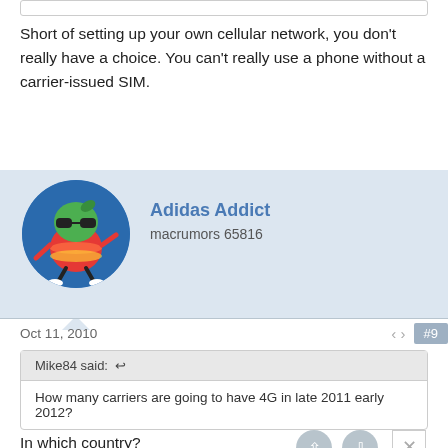Short of setting up your own cellular network, you don't really have a choice. You can't really use a phone without a carrier-issued SIM.
Adidas Addict
macrumors 65816
Oct 11, 2010   #9
Mike84 said: ↩
How many carriers are going to have 4G in late 2011 early 2012?
In which country?